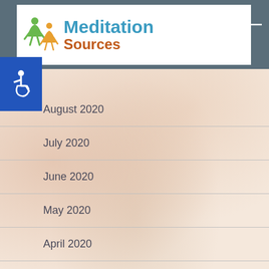Meditation Sources
August 2020
July 2020
June 2020
May 2020
April 2020
March 2020
February 2020
January 2020
December 2019